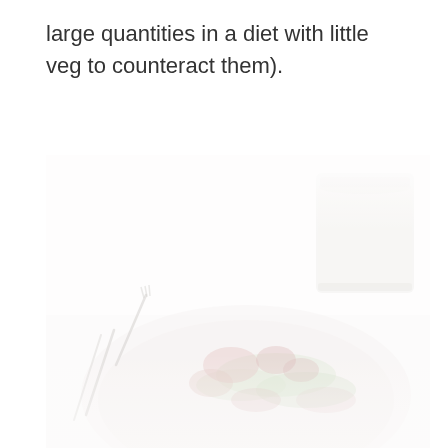large quantities in a diet with little veg to counteract them).
[Figure (photo): A washed-out, high-key photograph of a plate with a salad/food dish containing greens and reddish ingredients, with cutlery (knife and fork) on the left side, and a white cup/glass in the upper right corner, all on a white surface.]